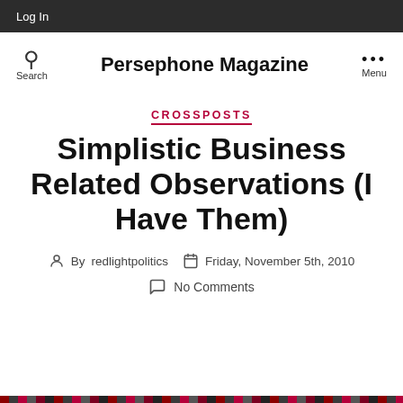Log In
Persephone Magazine
CROSSPOSTS
Simplistic Business Related Observations (I Have Them)
By redlightpolitics   Friday, November 5th, 2010
No Comments